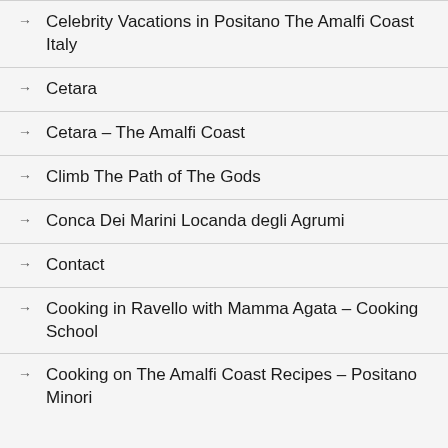→ Celebrity Vacations in Positano The Amalfi Coast Italy
→ Cetara
→ Cetara – The Amalfi Coast
→ Climb The Path of The Gods
→ Conca Dei Marini Locanda degli Agrumi
→ Contact
→ Cooking in Ravello with Mamma Agata – Cooking School
→ Cooking on The Amalfi Coast Recipes – Positano Minori